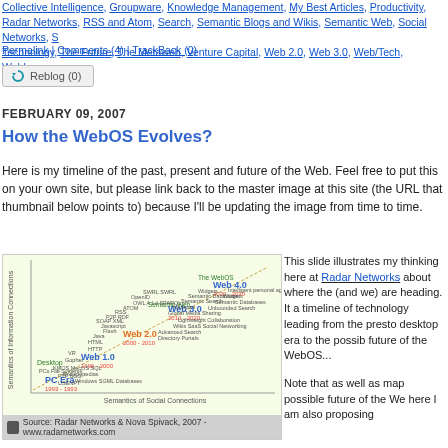Collective Intelligence, Groupware, Knowledge Management, My Best Articles, Productivity, Radar Networks, RSS and Atom, Search, Semantic Blogs and Wikis, Semantic Web, Social Networks, S Technology, The Future, The Metaweb, Venture Capital, Web 2.0, Web 3.0, Web/Tech, Weblogs
Permalink | Comments (4) | TrackBack (0)
Reblog (0)
FEBRUARY 09, 2007
How the WebOS Evolves?
Here is my timeline of the past, present and future of the Web. Feel free to put this on your own site, but please link back to the master image at this site (the URL that thumbnail below points to) because I'll be updating the image from time to time.
[Figure (infographic): A scatter/timeline diagram showing the evolution of the Web from PC Era through Web 1.0, Web 2.0, Web 3.0, to Web 4.0, plotted on axes of Semantics of Information Connections (y-axis) vs Semantics of Social Connections (x-axis). Labels include Desktop, PC Era (1993-1993), Web 1.0 (1996-2000), Web 2.0 (2000-2010), Web 3.0 (2010-2020), Web 4.0 (2020-2030), The WebOS, Semantic Web, Linked Data, etc. Source: Radar Networks & Nova Spivack, 2007 - www.radarnetworks.com]
Source: Radar Networks & Nova Spivack, 2007 - www.radarnetworks.com
This slide illustrates my thinking here at Radar Networks about where the (and we) are heading. It a timeline of technology leading from the presto desktop era to the possib future of the WebOS...
Note that as well as map possible future of the We here I am also proposing